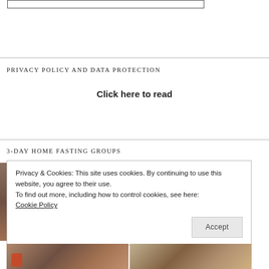[Figure (other): A rectangular outline/box element at the top of the page]
PRIVACY POLICY AND DATA PROTECTION
Click here to read
3-DAY HOME FASTING GROUPS
Privacy & Cookies: This site uses cookies. By continuing to use this website, you agree to their use.
To find out more, including how to control cookies, see here:
Cookie Policy
Accept
[Figure (photo): Two interior living room photos side by side at the bottom of the page]